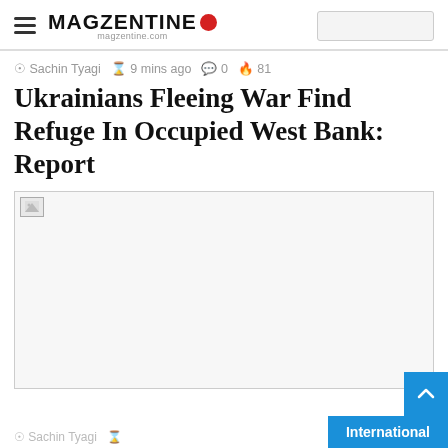MAGZENTINE magzentine.com
Sachin Tyagi  9 mins ago  0  81
Ukrainians Fleeing War Find Refuge In Occupied West Bank: Report
[Figure (photo): Broken/unloaded image placeholder for article photograph]
International